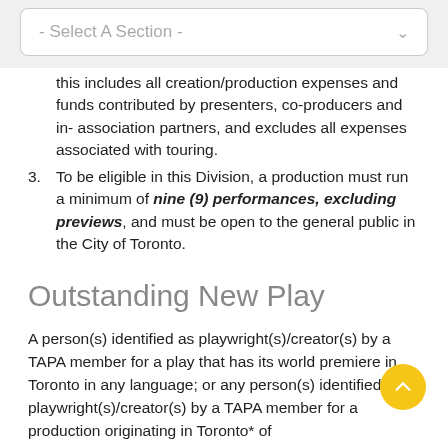- Select A Section -
this includes all creation/production expenses and funds contributed by presenters, co-producers and in- association partners, and excludes all expenses associated with touring.
3. To be eligible in this Division, a production must run a minimum of nine (9) performances, excluding previews, and must be open to the general public in the City of Toronto.
Outstanding New Play
A person(s) identified as playwright(s)/creator(s) by a TAPA member for a play that has its world premiere in Toronto in any language; or any person(s) identified as playwright(s)/creator(s) by a TAPA member for a production originating in Toronto* of